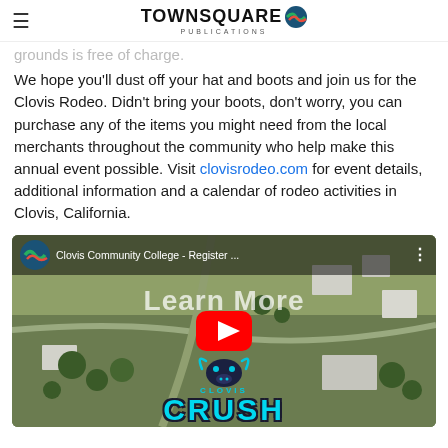TOWNSQUARE PUBLICATIONS
grounds is free of charge.
We hope you'll dust off your hat and boots and join us for the Clovis Rodeo. Didn't bring your boots, don't worry, you can purchase any of the items you might need from the local merchants throughout the community who help make this annual event possible. Visit clovisrodeo.com for event details, additional information and a calendar of rodeo activities in Clovis, California.
[Figure (screenshot): YouTube video thumbnail for Clovis Community College - Register... showing aerial view of campus with Learn More text overlay, YouTube play button, and Clovis Crush mascot logo at bottom]